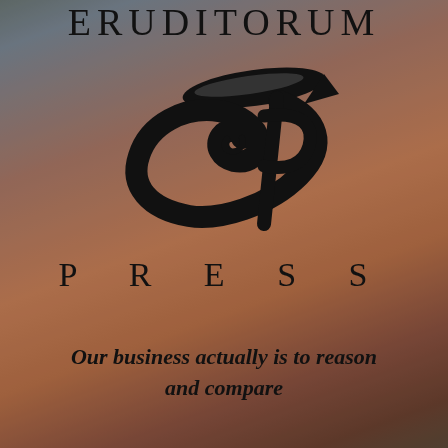ERUDITORUM
[Figure (logo): Eruditorum Press stylized EP monogram logo in black — a sweeping calligraphic E and P with a horizontal oval pen nib above]
PRESS
Our business actually is to reason and compare